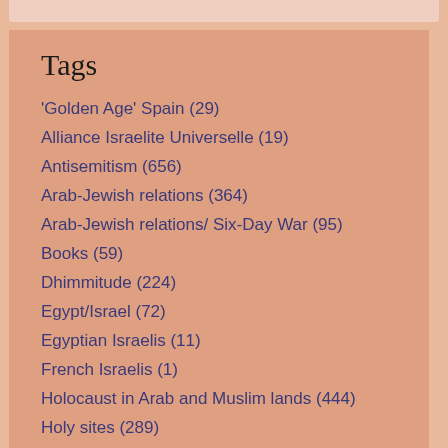Tags
'Golden Age' Spain (29)
Alliance Israelite Universelle (19)
Antisemitism (656)
Arab-Jewish relations (364)
Arab-Jewish relations/ Six-Day War (95)
Books (59)
Dhimmitude (224)
Egypt/Israel (72)
Egyptian Israelis (11)
French Israelis (1)
Holocaust in Arab and Muslim lands (444)
Holy sites (289)
Indigenous Jews (125)
Interfaith (12)